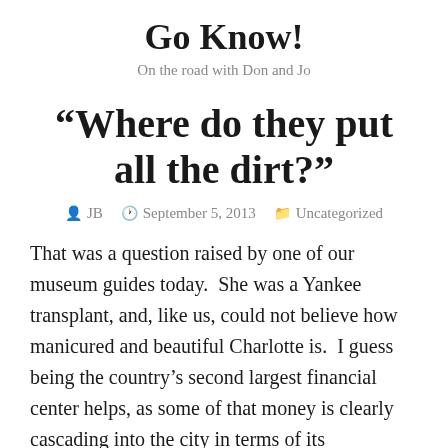Go Know!
On the road with Don and Jo
“Where do they put all the dirt?”
JB   September 5, 2013   Uncategorized
That was a question raised by one of our museum guides today.  She was a Yankee transplant, and, like us, could not believe how manicured and beautiful Charlotte is.  I guess being the country’s second largest financial center helps, as some of that money is clearly cascading into the city in terms of its architecture and style.  “Charlotte’s got a lot!” is their promotional slogan.  (Think about it.)  What they seem